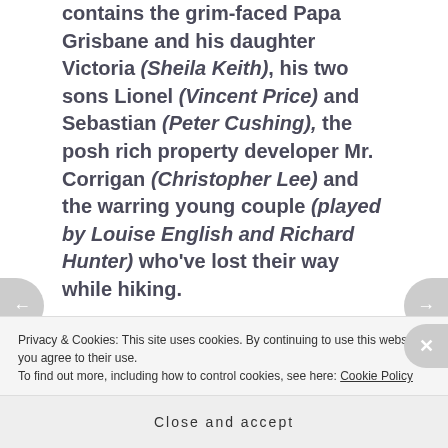contains the grim-faced Papa Grisbane and his daughter Victoria (Sheila Keith), his two sons Lionel (Vincent Price) and Sebastian (Peter Cushing), the posh rich property developer Mr. Corrigan (Christopher Lee) and the warring young couple (played by Louise English and Richard Hunter) who've lost their way while hiking.
Then, of course, there's Kenneth the writer himself and also the blonde and bubbly Mary, his publisher Sam's secretary. At least, that's who
Privacy & Cookies: This site uses cookies. By continuing to use this website, you agree to their use.
To find out more, including how to control cookies, see here: Cookie Policy
Close and accept